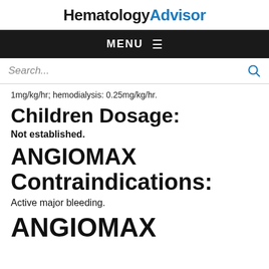HematologyAdvisor
MENU
Search...
1mg/kg/hr; hemodialysis: 0.25mg/kg/hr.
Children Dosage:
Not established.
ANGIOMAX Contraindications:
Active major bleeding.
ANGIOMAX